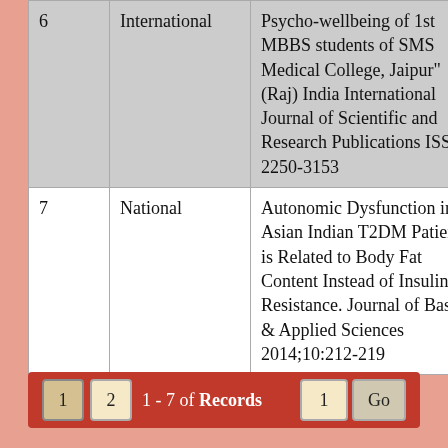| # | Type | Publication |
| --- | --- | --- |
| 6 | International | Psycho-wellbeing of 1st MBBS students of SMS Medical College, Jaipur" (Raj) India International Journal of Scientific and Research Publications ISSN 2250-3153 |
| 7 | National | Autonomic Dysfunction in Asian Indian T2DM Patients is Related to Body Fat Content Instead of Insulin Resistance. Journal of Basic & Applied Sciences 2014;10:212-219 |
1 2  1 - 7 of Records  1  Go